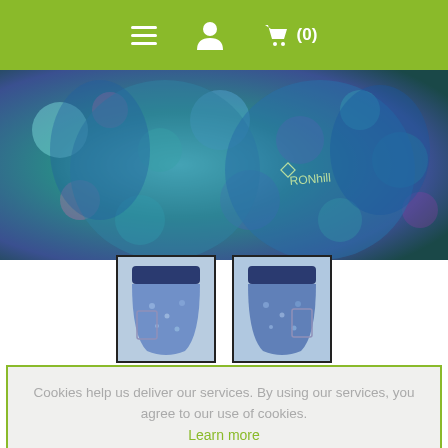[Figure (screenshot): Green navigation bar with hamburger menu icon, user/person icon, and shopping cart icon showing (0) items]
[Figure (photo): Two views of Ronhill patterned running shorts in blue/teal floral print with navy waistband — main large product photo and two thumbnail images below]
Cookies help us deliver our services. By using our services, you agree to our use of cookies. Learn more
OK
ARTICLE NUMBER: RH005531RH00837
Brands: Ronhill
€50.00